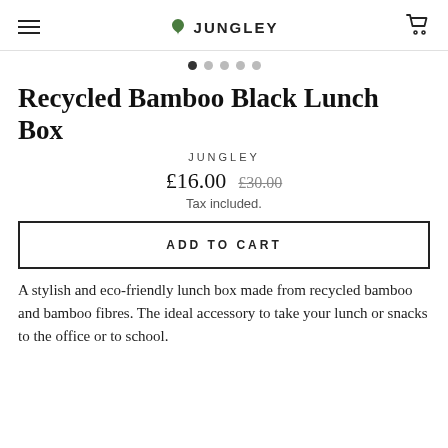JUNGLEY
[Figure (other): Carousel dots navigation — 5 dots, first dot active]
Recycled Bamboo Black Lunch Box
JUNGLEY
£16.00 £30.00
Tax included.
ADD TO CART
A stylish and eco-friendly lunch box made from recycled bamboo and bamboo fibres. The ideal accessory to take your lunch or snacks to the office or to school.